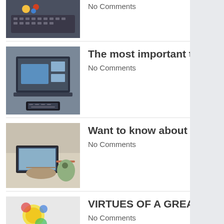[Figure (photo): Keyboard with small toy figures on it (partially visible, cropped at top)]
No Comments
[Figure (photo): Person using laptop computer, view from above]
The most important things about the MTM's CEO
No Comments
[Figure (photo): Person typing on laptop with coffee cup nearby]
Want to know about David Milberg and his talents
No Comments
[Figure (photo): Person drawing colorful artwork on a whiteboard]
VIRTUES OF A GREAT ENTREPRENEUR
No Comments
[Figure (photo): Massage therapy table with towels and plant]
How a Certified Professional can Starta Massage Therapy Business
No Comments
[Figure (photo): Broadway performers on stage in dark lighting]
What categories of roles can be auditioned for on Broadway